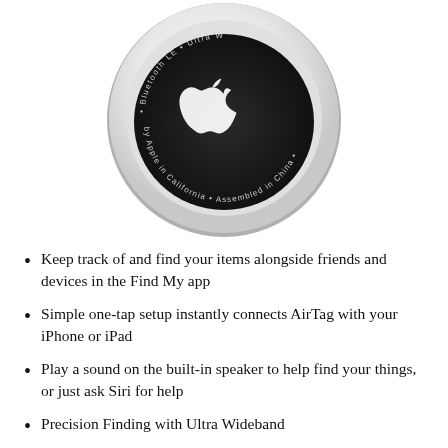[Figure (photo): Apple AirTag device viewed from the back, showing a circular white and silver body with the Apple logo on a dark background in the center, and text around the edge reading 'Bluetooth LE • Ultra Wideband • by Apple in California • Assembled in China']
Keep track of and find your items alongside friends and devices in the Find My app
Simple one-tap setup instantly connects AirTag with your iPhone or iPad
Play a sound on the built-in speaker to help find your things, or just ask Siri for help
Precision Finding with Ultra Wideband